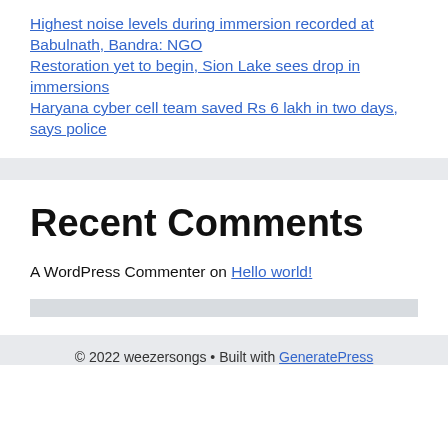Highest noise levels during immersion recorded at Babulnath, Bandra: NGO
Restoration yet to begin, Sion Lake sees drop in immersions
Haryana cyber cell team saved Rs 6 lakh in two days, says police
Recent Comments
A WordPress Commenter on Hello world!
© 2022 weezersongs • Built with GeneratePress